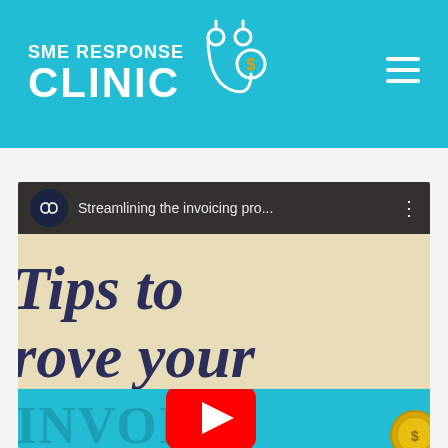[Figure (logo): SME Response Clinic logo with stethoscope icon featuring a dollar sign, white text on teal background, with hamburger menu icon]
[Figure (screenshot): YouTube video thumbnail embed showing 'Streamlining the invoicing pro...' video with large text 'Tips to rove your INVOICE' on tan/beige and teal background, with YouTube play button overlay]